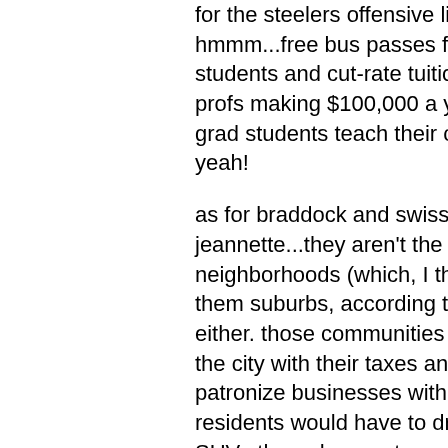for the steelers offensive line, hmmm...free bus passes for grad students and cut-rate tuition for pitt profs making $100,000 a year while grad students teach their classes, hell yeah!
as for braddock and swissvale or jeannette...they aren't the city neighborhoods (which, I think, makes them suburbs, according to JM et al), either. those communities don't support the city with their taxes and to patronize businesses within the city the residents would have to drive their SUVs through regent square and other sacred city